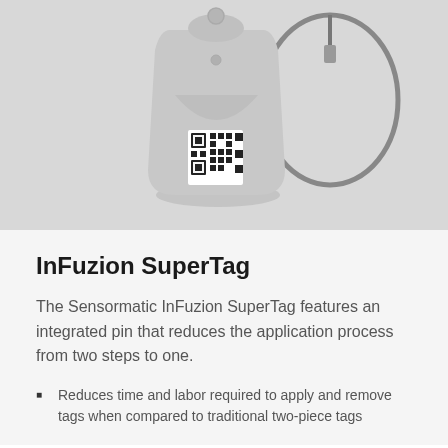[Figure (photo): Product photo of the Sensormatic InFuzion SuperTag — a grey plastic security tag with a QR code on its surface, attached to a looped metal cable/wire.]
InFuzion SuperTag
The Sensormatic InFuzion SuperTag features an integrated pin that reduces the application process from two steps to one.
Reduces time and labor required to apply and remove tags when compared to traditional two-piece tags